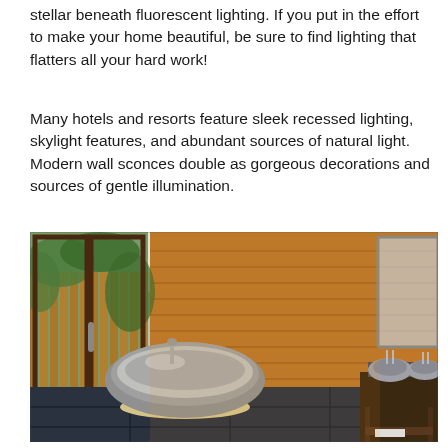stellar beneath fluorescent lighting. If you put in the effort to make your home beautiful, be sure to find lighting that flatters all your hard work!
Many hotels and resorts feature sleek recessed lighting, skylight features, and abundant sources of natural light. Modern wall sconces double as gorgeous decorations and sources of gentle illumination.
[Figure (photo): A luxurious spa-style bathroom with wooden plank walls, large glass folding doors looking out onto a garden, a large freestanding stone/concrete oval bathtub on a bed of pebbles, dark slate tile floor, and a wooden vanity with two vessel sinks and faucets on the right side.]